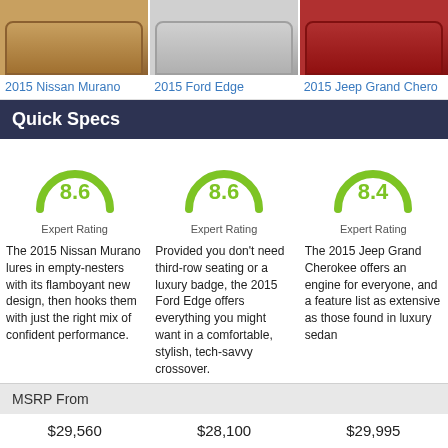[Figure (photo): Three car photos side by side: 2015 Nissan Murano (brown/orange), 2015 Ford Edge (silver/white), 2015 Jeep Grand Cherokee (red)]
2015 Nissan Murano
2015 Ford Edge
2015 Jeep Grand Chero...
Quick Specs
[Figure (infographic): Gauge showing 8.6 Expert Rating for Nissan Murano]
[Figure (infographic): Gauge showing 8.6 Expert Rating for Ford Edge]
[Figure (infographic): Gauge showing 8.4 Expert Rating for Jeep Grand Cherokee]
The 2015 Nissan Murano lures in empty-nesters with its flamboyant new design, then hooks them with just the right mix of confident performance.
Provided you don't need third-row seating or a luxury badge, the 2015 Ford Edge offers everything you might want in a comfortable, stylish, tech-savvy crossover.
The 2015 Jeep Grand Cherokee offers an engine for everyone, and a feature list as extensive as those found in luxury sedan
MSRP From
$29,560
$28,100
$29,995